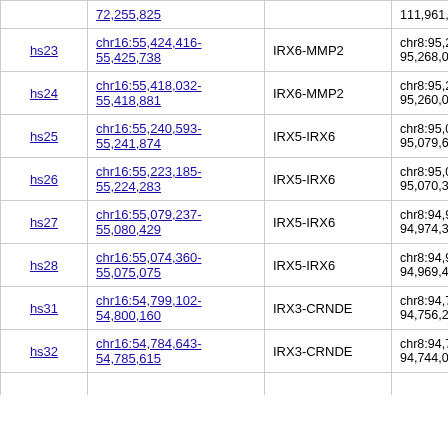| ID | Coordinates (hg19) | Genes | Mouse coordinates |
| --- | --- | --- | --- |
|  | 72,255,825 |  | 111,961,46... |
| hs23 | chr16:55,424,416-55,425,738 | IRX6-MMP2 | chr8:95,26...
95,268,099 |
| hs24 | chr16:55,418,032-55,418,881 | IRX6-MMP2 | chr8:95,25...
95,260,013 |
| hs25 | chr16:55,240,593-55,241,874 | IRX5-IRX6 | chr8:95,07...
95,079,621 |
| hs26 | chr16:55,223,185-55,224,283 | IRX5-IRX6 | chr8:95,06...
95,070,373 |
| hs27 | chr16:55,079,237-55,080,429 | IRX5-IRX6 | chr8:94,97...
94,974,310 |
| hs28 | chr16:55,074,360-55,075,075 | IRX5-IRX6 | chr8:94,96...
94,969,455 |
| hs31 | chr16:54,799,102-54,800,160 | IRX3-CRNDE | chr8:94,75...
94,756,216 |
| hs32 | chr16:54,784,643-54,785,615 | IRX3-CRNDE | chr8:94,74...
94,744,045 |